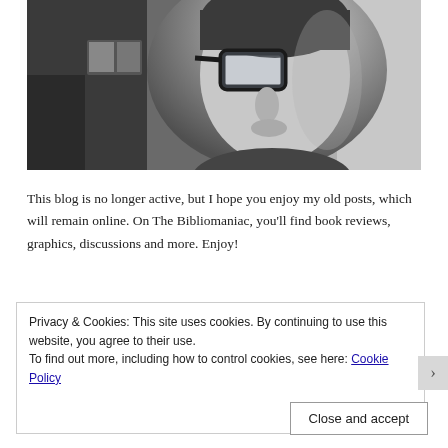[Figure (photo): Black and white photo of a young person wearing thick-framed glasses, looking to the side, with bookshelves in the background.]
This blog is no longer active, but I hope you enjoy my old posts, which will remain online. On The Bibliomaniac, you'll find book reviews, graphics, discussions and more. Enjoy!
Privacy & Cookies: This site uses cookies. By continuing to use this website, you agree to their use.
To find out more, including how to control cookies, see here: Cookie Policy
Close and accept